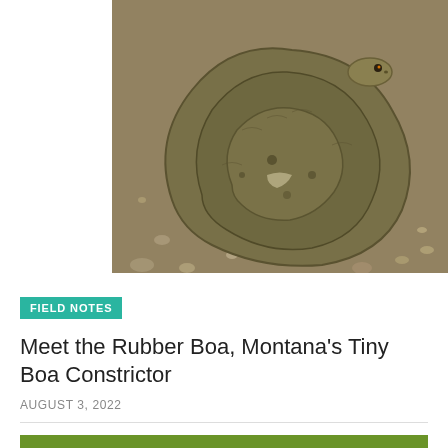[Figure (photo): Close-up photo of a rubber boa snake coiled on sandy/gravelly ground, brownish-olive coloring with visible scales]
FIELD NOTES
Meet the Rubber Boa, Montana's Tiny Boa Constrictor
AUGUST 3, 2022
[Figure (photo): Macro close-up photo of aphids (small yellow-green insects) on a green plant surface/leaf]
FIELD NOTES